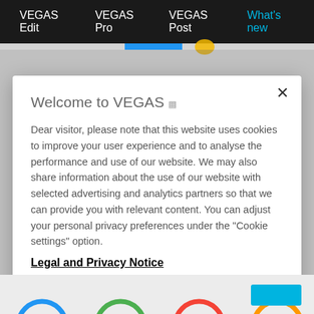VEGAS Edit   VEGAS Pro   VEGAS Post   What's new
Welcome to VEGAS
Dear visitor, please note that this website uses cookies to improve your user experience and to analyse the performance and use of our website. We may also share information about the use of our website with selected advertising and analytics partners so that we can provide you with relevant content. You can adjust your personal privacy preferences under the "Cookie settings" option.
Legal and Privacy Notice
Cookies Settings
OK